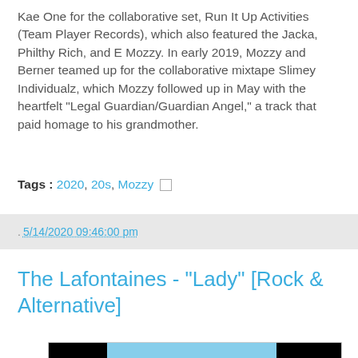Kae One for the collaborative set, Run It Up Activities (Team Player Records), which also featured the Jacka, Philthy Rich, and E Mozzy. In early 2019, Mozzy and Berner teamed up for the collaborative mixtape Slimey Individualz, which Mozzy followed up in May with the heartfelt "Legal Guardian/Guardian Angel," a track that paid homage to his grandmother.
Tags : 2020, 20s, Mozzy
. 5/14/2020 09:46:00 pm
The Lafontaines - "Lady" [Rock & Alternative]
[Figure (photo): Thumbnail image for The Lafontaines Lady video, showing an outdoor rural/countryside scene with blue sky, trees, and figures. Black bars on left and right sides (letterboxed).]